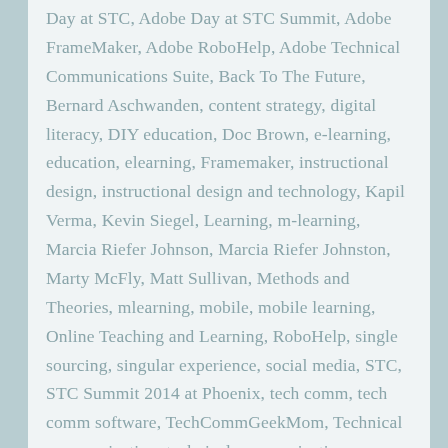Day at STC, Adobe Day at STC Summit, Adobe FrameMaker, Adobe RoboHelp, Adobe Technical Communications Suite, Back To The Future, Bernard Aschwanden, content strategy, digital literacy, DIY education, Doc Brown, e-learning, education, elearning, Framemaker, instructional design, instructional design and technology, Kapil Verma, Kevin Siegel, Learning, m-learning, Marcia Riefer Johnson, Marcia Riefer Johnston, Marty McFly, Matt Sullivan, Methods and Theories, mlearning, mobile, mobile learning, Online Teaching and Learning, RoboHelp, single sourcing, singular experience, social media, STC, STC Summit 2014 at Phoenix, tech comm, tech comm software, TechCommGeekMom, Technical communication, technical communications, technical writing, Twitter